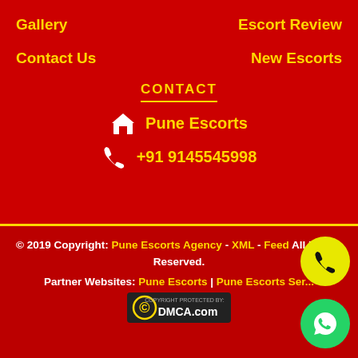Gallery
Escort Review
Contact Us
New Escorts
CONTACT
Pune Escorts
+91 9145545998
© 2019 Copyright: Pune Escorts Agency - XML - Feed All Rights Reserved.
Partner Websites: Pune Escorts | Pune Escorts Services
[Figure (logo): DMCA.com Copyright Protected badge]